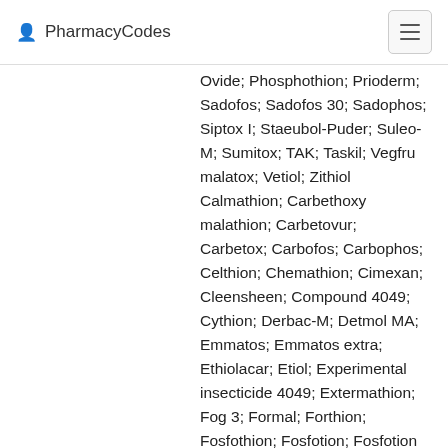PharmacyCodes
Ovide; Phosphothion; Prioderm; Sadofos; Sadofos 30; Sadophos; Siptox I; Staeubol-Puder; Suleo-M; Sumitox; TAK; Taskil; Vegfru malatox; Vetiol; Zithiol Calmathion; Carbethoxy malathion; Carbetovur; Carbetox; Carbofos; Carbophos; Celthion; Chemathion; Cimexan; Cleensheen; Compound 4049; Cythion; Derbac-M; Detmol MA; Emmatos; Emmatos extra; Ethiolacar; Etiol; Experimental insecticide 4049; Extermathion; Fog 3; Formal; Forthion; Fosfothion; Fosfotion; Fosfotion 550; Four thousand forty-nine; Fyfanon; Hilthion; Hilthion 25wdp; Insecticide no. 4049; Karbofos; Kop-